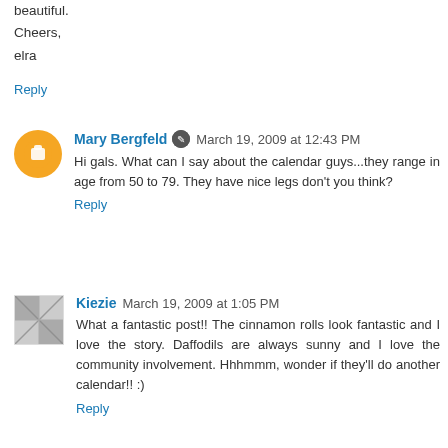beautiful.
Cheers,
elra
Reply
Mary Bergfeld  March 19, 2009 at 12:43 PM
Hi gals. What can I say about the calendar guys...they range in age from 50 to 79. They have nice legs don't you think?
Reply
Kiezie  March 19, 2009 at 1:05 PM
What a fantastic post!! The cinnamon rolls look fantastic and I love the story. Daffodils are always sunny and I love the community involvement. Hhhmmm, wonder if they'll do another calendar!! :)
Reply